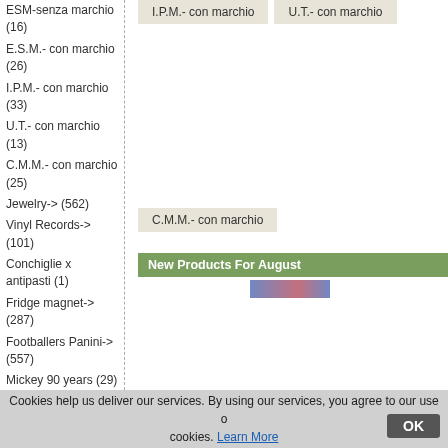ESM-senza marchio (16)
E.S.M.- con marchio (26)
I.P.M.- con marchio (33)
U.T.- con marchio (13)
C.M.M.- con marchio (25)
Jewelry-> (562)
Vinyl Records-> (101)
Conchiglie x antipasti (1)
Fridge magnet-> (287)
Footballers Panini-> (557)
Mickey 90 years (29)
What's New?
[Figure (photo): Small product image thumbnail]
Get.Tel.-7506 (a506)
Gettoni Telefonici E.S.M. 7,00EUR
Quick Find
I.P.M.- con marchio
U.T.- con marchio
C.M.M.- con marchio
New Products For August
[Figure (photo): Small product image thumbnail in New Products section]
Cookies help us deliver our services. By using our services, you agree to our use of cookies. Learn More